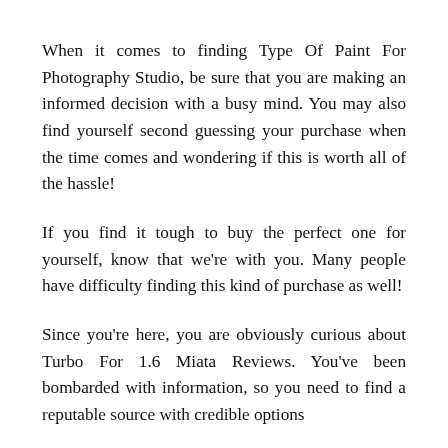When it comes to finding Type Of Paint For Photography Studio, be sure that you are making an informed decision with a busy mind. You may also find yourself second guessing your purchase when the time comes and wondering if this is worth all of the hassle!
If you find it tough to buy the perfect one for yourself, know that we're with you. Many people have difficulty finding this kind of purchase as well!
Since you're here, you are obviously curious about Turbo For 1.6 Miata Reviews. You've been bombarded with information, so you need to find a reputable source with credible options